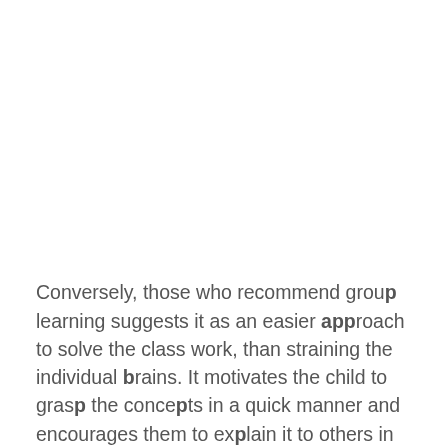Conversely, those who recommend group learning suggests it as an easier approach to solve the class work, than straining the individual brains. It motivates the child to grasp the concepts in a quick manner and encourages them to explain it to others in